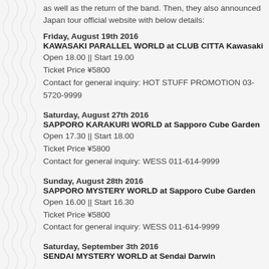as well as the return of the band. Then, they also announced Japan tour official website with below details:
Friday, August 19th 2016
KAWASAKI PARALLEL WORLD at CLUB CITTA Kawasaki
Open 18.00 || Start 19.00
Ticket Price ¥5800
Contact for general inquiry: HOT STUFF PROMOTION 03-5720-9999
Saturday, August 27th 2016
SAPPORO KARAKURI WORLD at Sapporo Cube Garden
Open 17.30 || Start 18.00
Ticket Price ¥5800
Contact for general inquiry: WESS 011-614-9999
Sunday, August 28th 2016
SAPPORO MYSTERY WORLD at Sapporo Cube Garden
Open 16.00 || Start 16.30
Ticket Price ¥5800
Contact for general inquiry: WESS 011-614-9999
Saturday, September 3th 2016
SENDAI MYSTERY WORLD at Sendai Darwin